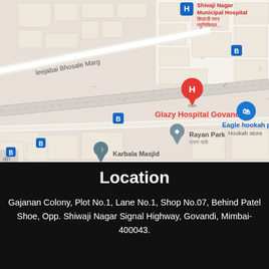[Figure (map): Google Maps screenshot showing Glazy Hospital Govandi location with surrounding landmarks including Shivaji Nagar Municipal Hospital, Rayan Park, Eagle hookah parlour (Hookah store), Karbala Masjid, and streets including Leejabai Bhosale Marg and Abdul Hamid Marg.]
Location
Gajanan Colony, Plot No.1, Lane No.1, Shop No.07, Behind Patel Shoe, Opp. Shiwaji Nagar Signal Highway, Govandi, Mimbai-400043.